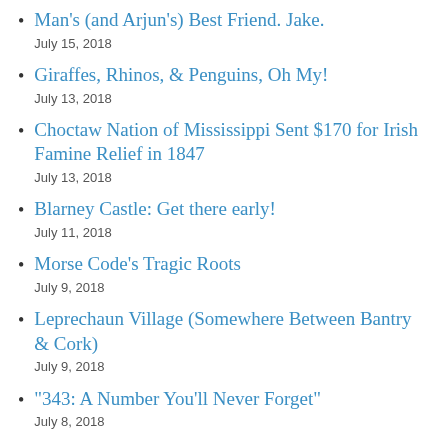Man’s (and Arjun’s) Best Friend. Jake.
July 15, 2018
Giraffes, Rhinos, & Penguins, Oh My!
July 13, 2018
Choctaw Nation of Mississippi Sent $170 for Irish Famine Relief in 1847
July 13, 2018
Blarney Castle: Get there early!
July 11, 2018
Morse Code’s Tragic Roots
July 9, 2018
Leprechaun Village (Somewhere Between Bantry & Cork)
July 9, 2018
“343: A Number You’ll Never Forget”
July 8, 2018